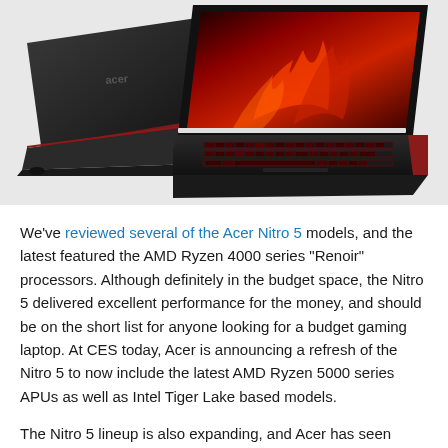[Figure (photo): Two Acer Nitro 5 gaming laptops shown from different angles. The left laptop shows the closed lid from the back/top with the Acer logo visible. The right and larger laptop is open, showing the red-backlit keyboard and a screen displaying a red flaming/abstract wallpaper.]
We've reviewed several of the Acer Nitro 5 models, and the latest featured the AMD Ryzen 4000 series “Renoir” processors. Although definitely in the budget space, the Nitro 5 delivered excellent performance for the money, and should be on the short list for anyone looking for a budget gaming laptop. At CES today, Acer is announcing a refresh of the Nitro 5 to now include the latest AMD Ryzen 5000 series APUs as well as Intel Tiger Lake based models.
The Nitro 5 lineup is also expanding, and Acer has seen strong